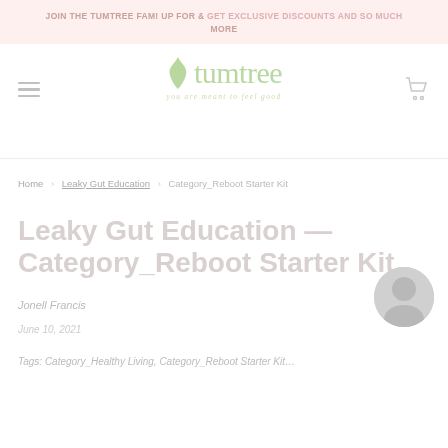JOIN THE TUMTREE FAM! UP FOR & GET EXCLUSIVE DISCOUNTS AND SO MUCH MORE
[Figure (logo): Tumtree logo with flame icon, green wordmark 'tumtree', and tagline 'you are meant to feel good']
Home › Leaky Gut Education › Category_Reboot Starter Kit
Leaky Gut Education — Category_Reboot Starter Kit
Jonell Francis
June 10, 2021
Tags: Category_Healthy Living, Category_Reboot Starter Kit…